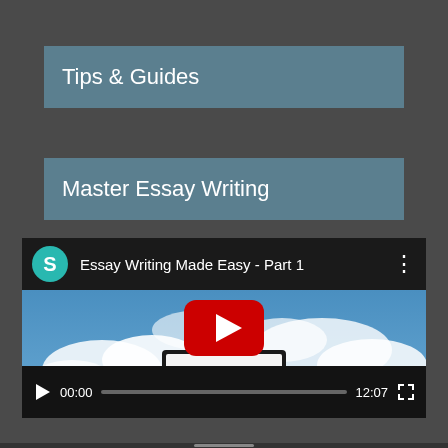Tips & Guides
Master Essay Writing
[Figure (screenshot): YouTube video embed titled 'Essay Writing Made Easy - Part 1' showing a road sign photo with a red YouTube play button overlay, video controls bar at bottom showing 00:00 current time and 12:07 duration]